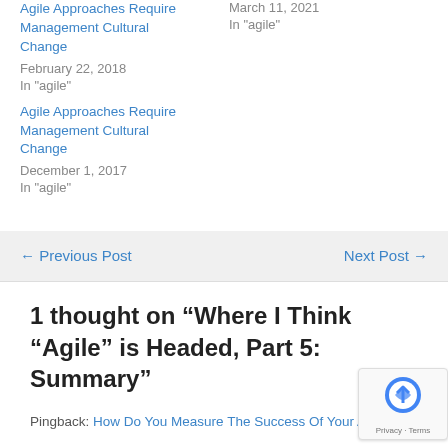Agile Approaches Require Management Cultural Change
February 22, 2018
In "agile"
March 11, 2021
In "agile"
Agile Approaches Require Management Cultural Change
December 1, 2017
In "agile"
← Previous Post
Next Post →
1 thought on "Where I Think “Agile” is Headed, Part 5: Summary"
Pingback: How Do You Measure The Success Of Your Agile